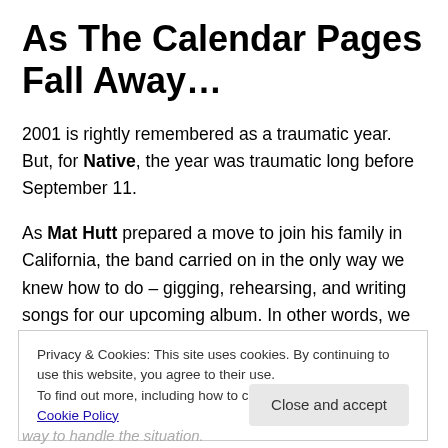As The Calendar Pages Fall Away…
2001 is rightly remembered as a traumatic year. But, for Native, the year was traumatic long before September 11.
As Mat Hutt prepared a move to join his family in California, the band carried on in the only way we knew how to do – gigging, rehearsing, and writing songs for our upcoming album. In other words, we were a bit in denial.
Privacy & Cookies: This site uses cookies. By continuing to use this website, you agree to their use.
To find out more, including how to control cookies, see here: Cookie Policy
Close and accept
way to handle the situation.